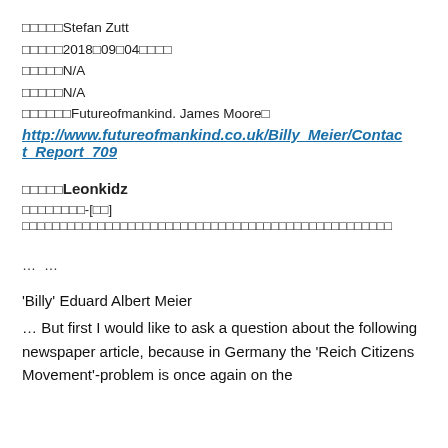□□□□□Stefan Zutt
□□□□□2018□09□04□□□□
□□□□□N/A
□□□□□N/A
□□□□□□Futureofmankind. James Moore□
http://www.futureofmankind.co.uk/Billy_Meier/Contact_Report_709
□□□□□Leonkidz
□□□□□□□□-[□□]
□□□□□□□□□□□□□□□□□□□□□□□□□□□□□□□□□□□□□□□□□□□□
… …
'Billy' Eduard Albert Meier
… But first I would like to ask a question about the following newspaper article, because in Germany the 'Reich Citizens Movement'-problem is once again on the